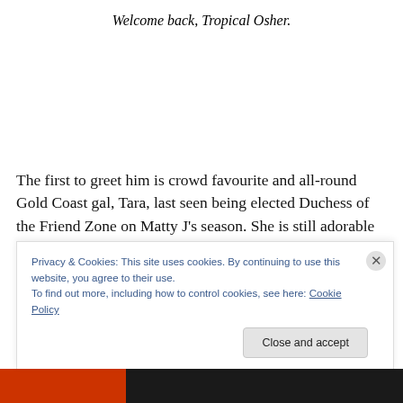Welcome back, Tropical Osher.
The first to greet him is crowd favourite and all-round Gold Coast gal, Tara, last seen being elected Duchess of the Friend Zone on Matty J's season. She is still adorable and still, “so excoited.” Bless her. She hot foots it to the bar
Privacy & Cookies: This site uses cookies. By continuing to use this website, you agree to their use.
To find out more, including how to control cookies, see here: Cookie Policy
Close and accept